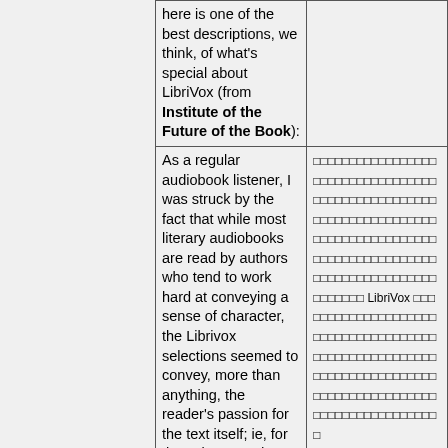| here is one of the best descriptions, we think, of what's special about LibriVox (from Institute of the Future of the Book): |  |
| As a regular audiobook listener, I was struck by the fact that while most literary audiobooks are read by authors who tend to work hard at conveying a sense of character, the Librivox selections seemed to convey, more than anything, the reader's passion for the text itself; ie, for the written word. Here at the Institute we've been spending a fair amount of time | [non-Latin script text] LibriVox [non-Latin script text] |